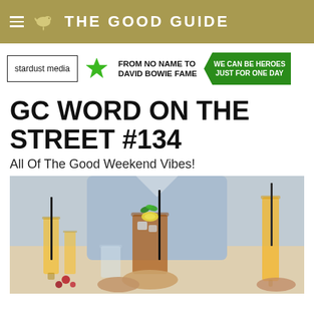THE GOOD GUIDE
[Figure (other): Ad bar with stardust media logo, green star, 'FROM NO NAME TO DAVID BOWIE FAME' text, and green 'WE CAN BE HEROES JUST FOR ONE DAY' banner]
GC WORD ON THE STREET #134
All Of The Good Weekend Vibes!
[Figure (photo): Person in light blue shirt holding a cocktail glass with ice tea, lemon and mint, surrounded by mimosa glasses with orange juice on a table]